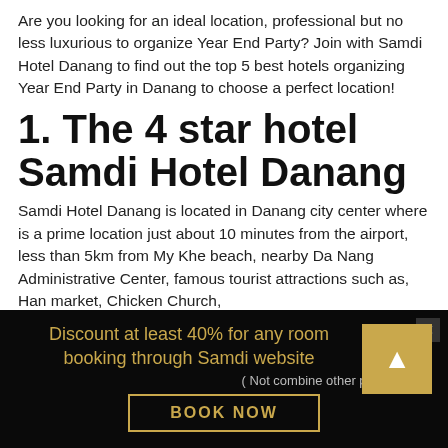Are you looking for an ideal location, professional but no less luxurious to organize Year End Party? Join with Samdi Hotel Danang to find out the top 5 best hotels organizing Year End Party in Danang to choose a perfect location!
1. The 4 star hotel Samdi Hotel Danang
Samdi Hotel Danang is located in Danang city center where is a prime location just about 10 minutes from the airport, less than 5km from My Khe beach, nearby Da Nang Administrative Center, famous tourist attractions such as, Han market, Chicken Church,
Discount at least 40% for any room booking through Samdi website
( Not combine other promotions)
BOOK NOW